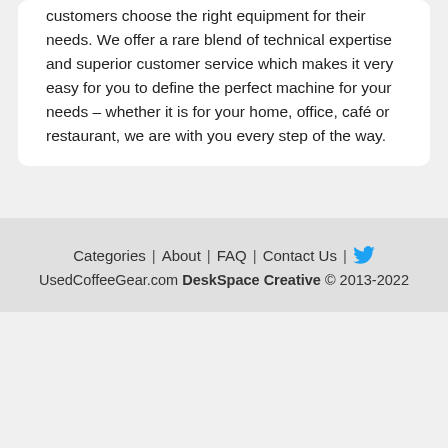customers choose the right equipment for their needs. We offer a rare blend of technical expertise and superior customer service which makes it very easy for you to define the perfect machine for your needs – whether it is for your home, office, café or restaurant, we are with you every step of the way.
Categories | About | FAQ | Contact Us | [Twitter] UsedCoffeeGear.com DeskSpace Creative © 2013-2022